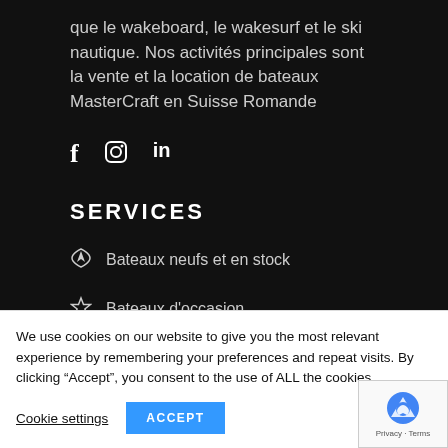que le wakeboard, le wakesurf et le ski nautique. Nos activités principales sont la vente et la location de bateaux MasterCraft en Suisse Romande
[Figure (other): Social media icons: Facebook (f), Instagram (camera icon), LinkedIn (in)]
SERVICES
Bateaux neufs et en stock
Bateaux d'occasion
We use cookies on our website to give you the most relevant experience by remembering your preferences and repeat visits. By clicking "Accept", you consent to the use of ALL the cookies.
Cookie settings | ACCEPT